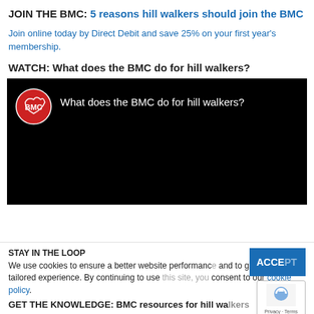JOIN THE BMC: 5 reasons hill walkers should join the BMC
Join online today by Direct Debit and save 25% on your first year's membership.
WATCH: What does the BMC do for hill walkers?
[Figure (screenshot): Embedded video thumbnail with BMC logo and title 'What does the BMC do for hill walkers?' on black background]
STAY IN THE LOOP
We use cookies to ensure a better website performance and to give you a more tailored experience. By continuing to use this site, you consent to our cookie policy.
GET THE KNOWLEDGE: BMC resources for hill wa...